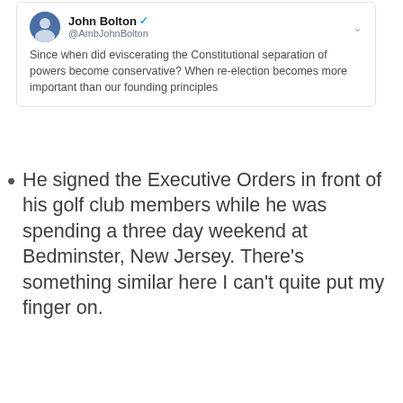[Figure (screenshot): Screenshot of a tweet by John Bolton (@AmbJohnBolton) with verified badge: 'Since when did eviscerating the Constitutional separation of powers become conservative? When re-election becomes more important than our founding principles']
He signed the Executive Orders in front of his golf club members while he was spending a three day weekend at Bedminster, New Jersey. There's something similar here I can't quite put my finger on.
[Figure (photo): Photo of a crowd of men standing and watching inside what appears to be a golf club venue with large windows in the background. A man in a pink polo shirt is prominently visible in the center.]
[Figure (photo): Photo of another crowd of people seated and standing inside a bright interior space, partially visible at the bottom of the page.]